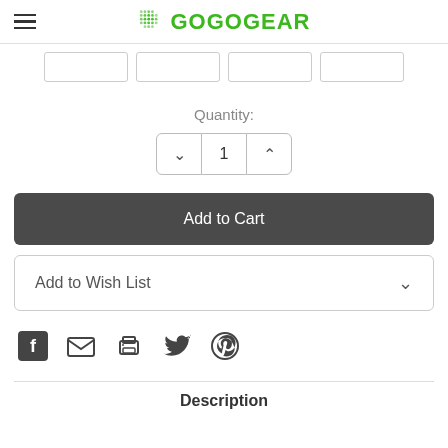GOGOGEAR
[Figure (screenshot): Four product thumbnail image placeholders in a row]
Quantity:
1
Add to Cart
Add to Wish List
[Figure (other): Social share icons: Facebook, Email, Print, Twitter, Pinterest]
Description